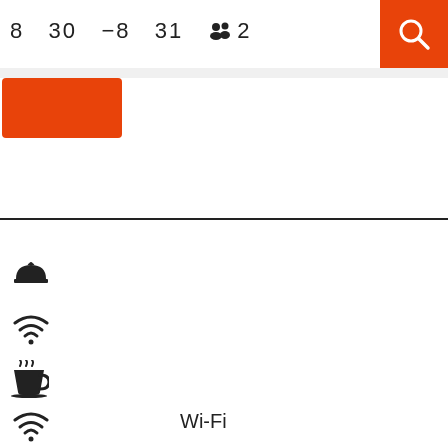8  30  −8  31  👥 2
[Figure (other): Orange search button with magnifying glass icon]
[Figure (other): Orange rectangle/button]
[Figure (other): Horizontal divider line]
[Figure (other): Restaurant/food serving dish icon]
[Figure (other): Wi-Fi signal icon]
[Figure (other): Hot coffee cup icon]
Wi-Fi